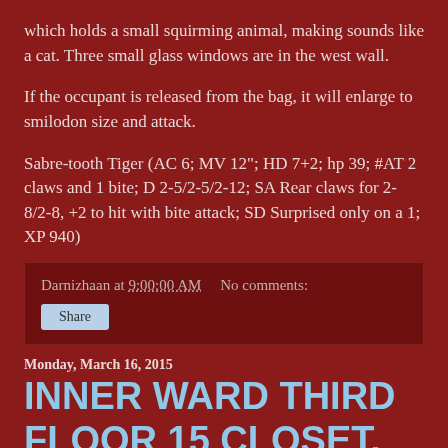which holds a small squirming animal, making sounds like a cat. Three small glass windows are in the west wall.
If the occupant is released from the bag, it will enlarge to smilodon size and attack.
Sabre-tooth Tiger (AC 6; MV 12"; HD 7+2; hp 39; #AT 2 claws and 1 bite; D 2-5/2-5/2-12; SA Rear claws for 2-8/2-8, +2 to hit with bite attack; SD Surprised only on a 1; XP 940)
Darnizhaan at 9:00:00 AM   No comments:
Monday, March 16, 2015
INNER WARD THIRD FLOOR 15 CLOSET.
15 CLOSET. This closet holds fine glossy black leather gloves, black boots, and a robe of useful items which has the appearance of a red